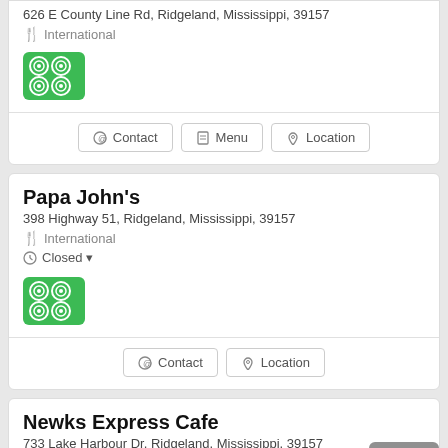626 E County Line Rd, Ridgeland, Mississippi, 39157
International
Contact | Menu | Location
Papa John's
398 Highway 51, Ridgeland, Mississippi, 39157
International
Closed
Contact | Location
Newks Express Cafe
733 Lake Harbour Dr, Ridgeland, Mississippi, 39157
International
Closed
Top